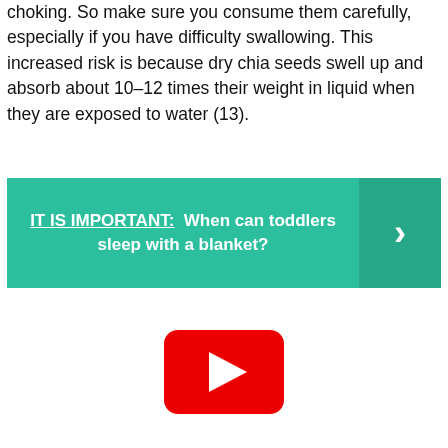choking. So make sure you consume them carefully, especially if you have difficulty swallowing. This increased risk is because dry chia seeds swell up and absorb about 10–12 times their weight in liquid when they are exposed to water (13).
IT IS IMPORTANT: When can toddlers sleep with a blanket?
[Figure (other): YouTube play button icon — red rounded rectangle with white triangle play symbol]